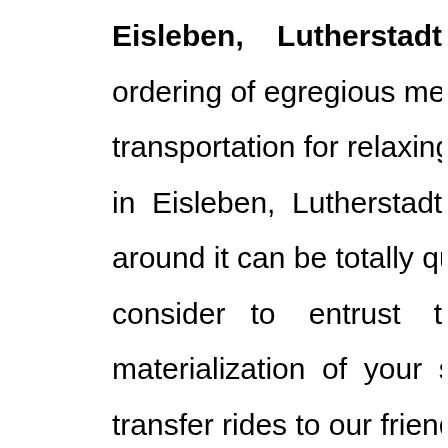Eisleben, Lutherstadt: The ordering of egregious means of transportation for relaxing journeys in Eisleben, Lutherstadt and around it can be totally quick if you consider to entrust the materialization of your street transfer rides to our friendly office